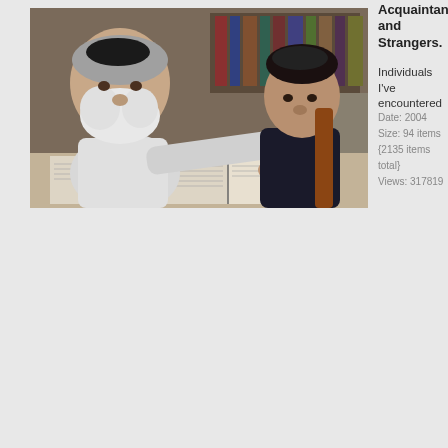[Figure (photo): An older bearded man with a yarmulke and a young boy with a yarmulke sitting at a table together, reading from open books. Bookshelves visible in the background.]
Acquaintances and Strangers.
Individuals I've encountered
Date: 2004
Size: 94 items {2135 items total}
Views: 317819